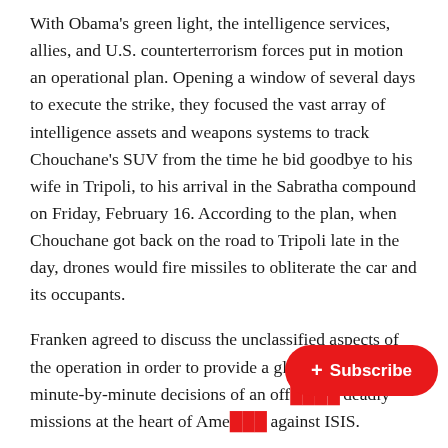With Obama's green light, the intelligence services, allies, and U.S. counterterrorism forces put in motion an operational plan. Opening a window of several days to execute the strike, they focused the vast array of intelligence assets and weapons systems to track Chouchane's SUV from the time he bid goodbye to his wife in Tripoli, to his arrival in the Sabratha compound on Friday, February 16. According to the plan, when Chouchane got back on the road to Tripoli late in the day, drones would fire missiles to obliterate the car and its occupants.
Franken agreed to discuss the unclassified aspects of the operation in order to provide a glimpse into the minute-by-minute decisions of an off[icial conducting one of the most] deadly missions at the heart of Ame[rica's campaign] against ISIS.
[Figure (other): Red rounded subscribe button with plus icon and text '+ Subscribe']